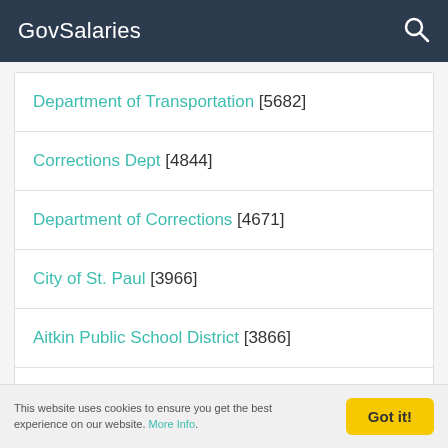GovSalaries
Department of Transportation [5682]
Corrections Dept [4844]
Department of Corrections [4671]
City of St. Paul [3966]
Aitkin Public School District [3866]
Natural Resources Dept [3496]
This website uses cookies to ensure you get the best experience on our website. More Info.